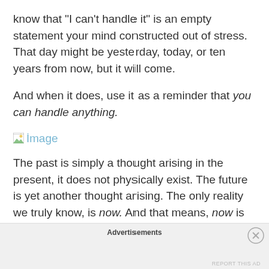know that “I can’t handle it” is an empty statement your mind constructed out of stress. That day might be yesterday, today, or ten years from now, but it will come.
And when it does, use it as a reminder that you can handle anything.
[Figure (other): Broken image placeholder labeled 'Image']
The past is simply a thought arising in the present, it does not physically exist. The future is yet another thought arising. The only reality we truly know, is now. And that means, now is the time you’ve got to worry about. Now is what we have.
Advertisements